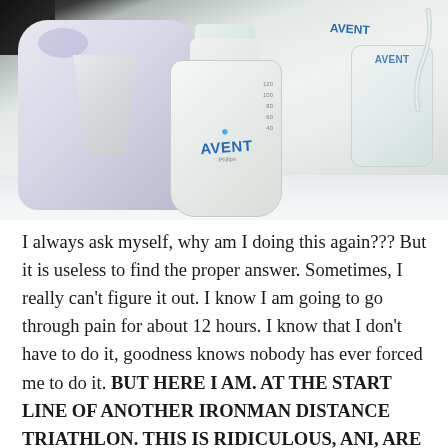[Figure (photo): Photo of an Avent breast pump with two Avent bottles on a white surface. A large white pump body with purple accent is on the left, a clear bottle with measurement markings and the Avent logo in the center, and a partial bottle with tubing on the right.]
I always ask myself, why am I doing this again??? But it is useless to find the proper answer. Sometimes, I really can't figure it out. I know I am going to go through pain for about 12 hours. I know that I don't have to do it, goodness knows nobody has ever forced me to do it. BUT HERE I AM. AT THE START LINE OF ANOTHER IRONMAN DISTANCE TRIATHLON. THIS IS RIDICULOUS, ANI, ARE YOU